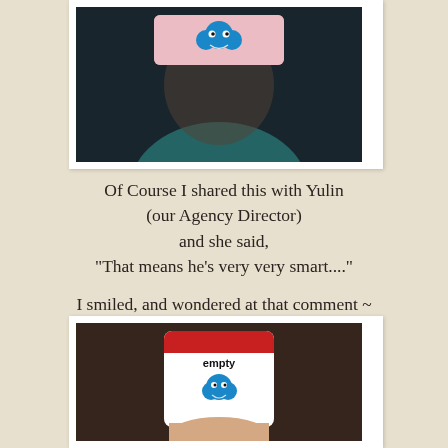[Figure (photo): Photo of a person in a teal shirt holding up a card with a Cookie Monster image on it, face obscured by the card. Dark blurred background.]
Of Course I shared this with Yulin
(our Agency Director)
and she said,
"That means he's very very smart..."
I smiled, and wondered at that comment ~
[Figure (photo): Photo of a hand holding a flashcard with a red border at top, the word 'empty' and a Cookie Monster illustration on it. Dark blurred background.]